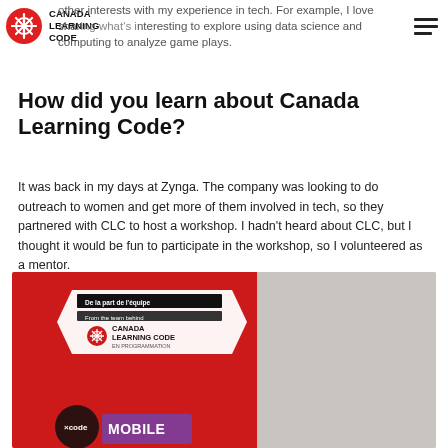CANADA LEARNING CODE
other interests with my experience in tech. For example, I love sharing what's interesting to explore using data science and computing to analyze game plays.
How did you learn about Canada Learning Code?
It was back in my days at Zynga. The company was looking to do outreach to women and get more of them involved in tech, so they partnered with CLC to host a workshop. I hadn't heard about CLC, but I thought it would be fun to participate in the workshop, so I volunteered as a mentor.
[Figure (photo): Person wearing a black Canada Learning Code t-shirt, raising their fist in the air in front of a red Canada Learning Code banner. The banner shows the logo and text 'De la part de l'équipe / From the team behind / Canada Learning Code / EN PROGRAMMATION'. At the bottom is a 'code mobile' logo.]